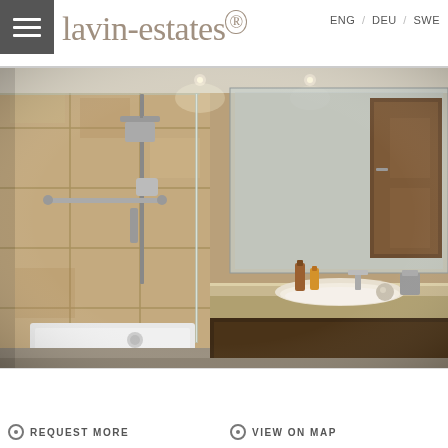ENG / DEU / SWE
lavin-estates®
[Figure (photo): Luxury bathroom with marble/stone tile walls, glass-enclosed shower with rainfall showerhead, long floating vanity countertop with white sink, toiletries, and a large mirror reflecting the bathroom interior including a dark wooden door]
REQUEST MORE
VIEW ON MAP